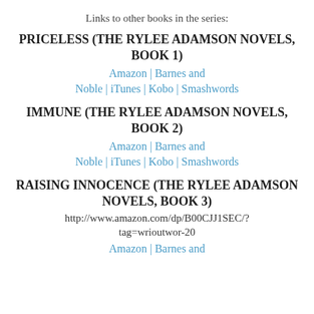Links to other books in the series:
PRICELESS (THE RYLEE ADAMSON NOVELS, BOOK 1)
Amazon | Barnes and Noble | iTunes | Kobo | Smashwords
IMMUNE (THE RYLEE ADAMSON NOVELS, BOOK 2)
Amazon | Barnes and Noble | iTunes | Kobo | Smashwords
RAISING INNOCENCE (THE RYLEE ADAMSON NOVELS, BOOK 3)
http://www.amazon.com/dp/B00CJJ1SEC/?tag=wrioutwor-20
Amazon | Barnes and